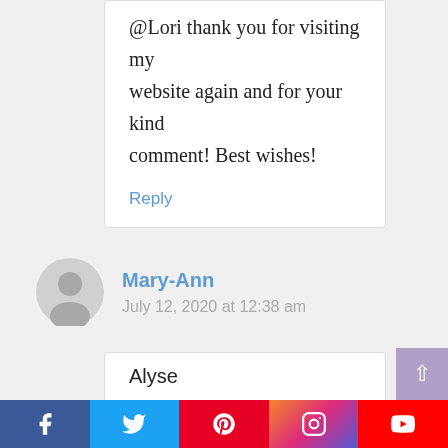@Lori thank you for visiting my website again and for your kind comment! Best wishes!
Reply
Mary-Ann
July 12, 2020 at 12:38 am
Alyse